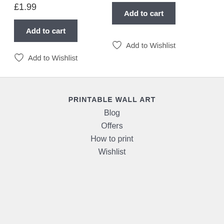£1.99
Add to cart
Add to Wishlist
Add to cart
Add to Wishlist
PRINTABLE WALL ART
Blog
Offers
How to print
Wishlist